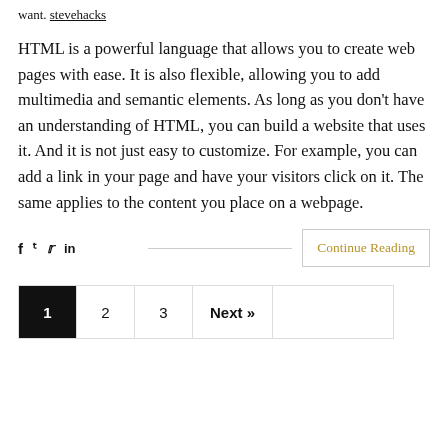want. stevehacks
HTML is a powerful language that allows you to create web pages with ease. It is also flexible, allowing you to add multimedia and semantic elements. As long as you don't have an understanding of HTML, you can build a website that uses it. And it is not just easy to customize. For example, you can add a link in your page and have your visitors click on it. The same applies to the content you place on a webpage.
Continue Reading
1 2 3 Next »